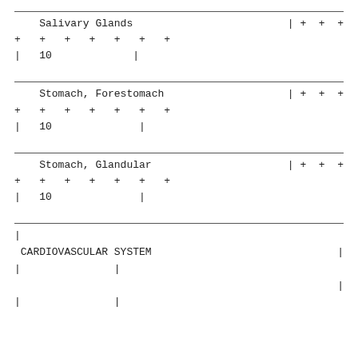| Salivary Glands | | + + + |
| + + + + + + + |  |
| | 10          | |  |
| Stomach, Forestomach | | + + + |
| + + + + + + + |  |
| | 10          | |  |
| Stomach, Glandular | | + + + |
| + + + + + + + |  |
| | 10          | |  |
| | |  |
| CARDIOVASCULAR SYSTEM | | |
| |              | |  |
|  | | |
| |              | |  |